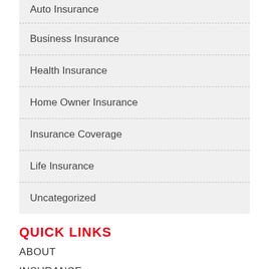Auto Insurance
Business Insurance
Health Insurance
Home Owner Insurance
Insurance Coverage
Life Insurance
Uncategorized
QUICK LINKS
ABOUT
INSURANCE
BLOG
HAPPY'S
CONTACT